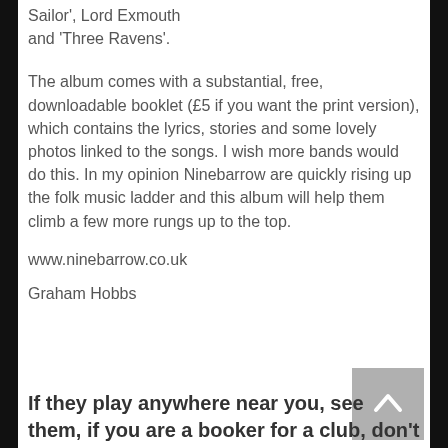Sailor', Lord Exmouth and 'Three Ravens'.
The album comes with a substantial, free, downloadable booklet (£5 if you want the print version), which contains the lyrics, stories and some lovely photos linked to the songs. I wish more bands would do this. In my opinion Ninebarrow are quickly rising up the folk music ladder and this album will help them climb a few more rungs up to the top.
www.ninebarrow.co.uk
Graham Hobbs
If they play anywhere near you, see them, if you are a booker for a club, don't hesitate